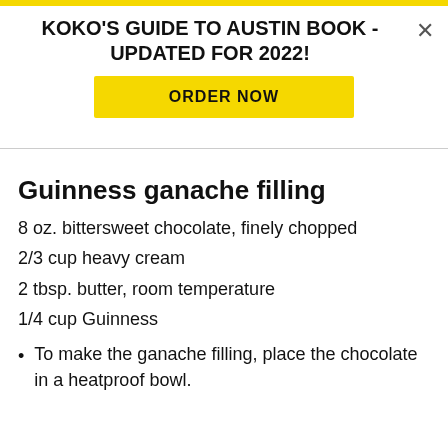KOKO'S GUIDE TO AUSTIN BOOK - UPDATED FOR 2022!
Guinness ganache filling
8 oz. bittersweet chocolate, finely chopped
2/3 cup heavy cream
2 tbsp. butter, room temperature
1/4 cup Guinness
To make the ganache filling, place the chocolate in a heatproof bowl.